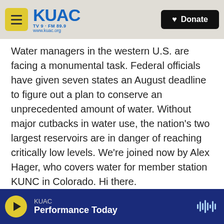KUAC TV9 · FM 89.9 www.kuac.org | Donate
Water managers in the western U.S. are facing a monumental task. Federal officials have given seven states an August deadline to figure out a plan to conserve an unprecedented amount of water. Without major cutbacks in water use, the nation's two largest reservoirs are in danger of reaching critically low levels. We're joined now by Alex Hager, who covers water for member station KUNC in Colorado. Hi there.
ALEX HAGER, BYLINE: Hey - good to be with you.
KUAC | Performance Today